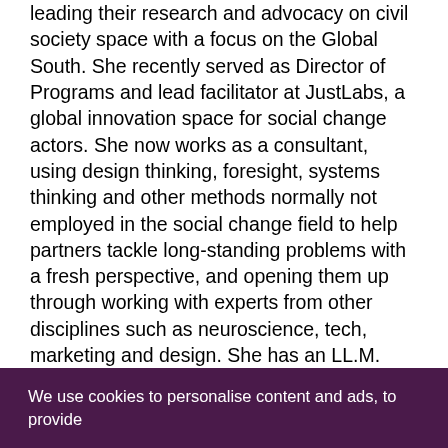leading their research and advocacy on civil society space with a focus on the Global South. She recently served as Director of Programs and lead facilitator at JustLabs, a global innovation space for social change actors. She now works as a consultant, using design thinking, foresight, systems thinking and other methods normally not employed in the social change field to help partners tackle long-standing problems with a fresh perspective, and opening them up through working with experts from other disciplines such as neuroscience, tech, marketing and design. She has an LL.M. with a concentration in international human rights law from Harvard, and a BA Political Science and Juris Doctor from Ateneo in the Philippines.
Learn more about Krizna's #FRO2021 session:
What's coming next? How to actively engineer the future you
We use cookies to personalise content and ads, to provide